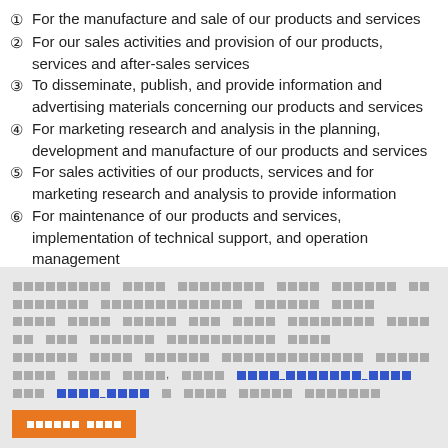①For the manufacture and sale of our products and services
②For our sales activities and provision of our products, services and after-sales services
③To disseminate, publish, and provide information and advertising materials concerning our products and services
④For marketing research and analysis in the planning, development and manufacture of our products and services
⑤For sales activities of our products, services and for marketing research and analysis to provide information
⑥For maintenance of our products and services, implementation of technical support, and operation management
⑦To make inquiries about and respond to inquiries about our
[Thai/Japanese script content with cookie consent text and links]
[Cookie settings button]